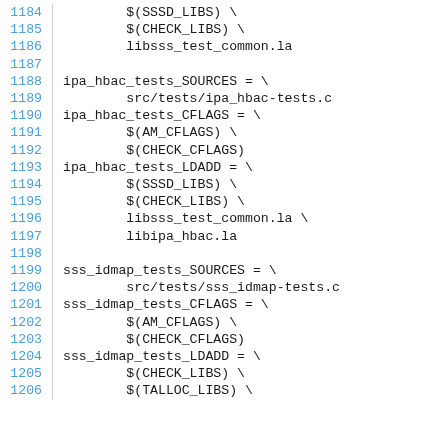Code listing lines 1184-1206 showing Makefile variables for ipa_hbac_tests and sss_idmap_tests including SOURCES, CFLAGS, and LDADD assignments